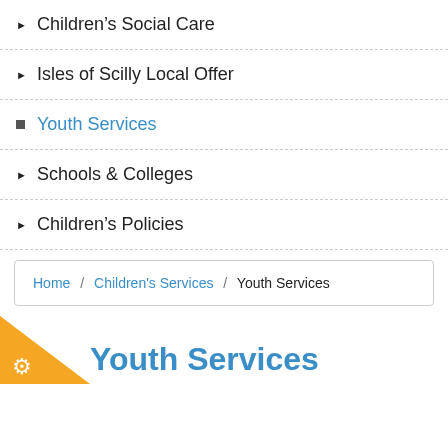Children's Social Care
Isles of Scilly Local Offer
Youth Services
Schools & Colleges
Children's Policies
Home / Children's Services / Youth Services
Youth Services